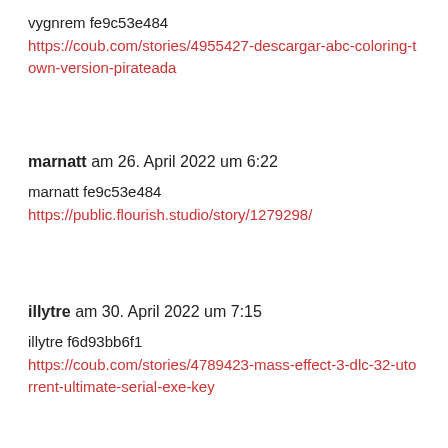vygnrem fe9c53e484
https://coub.com/stories/4955427-descargar-abc-coloring-town-version-pirateada
marnatt am 26. April 2022 um 6:22
marnatt fe9c53e484
https://public.flourish.studio/story/1279298/
illytre am 30. April 2022 um 7:15
illytre f6d93bb6f1
https://coub.com/stories/4789423-mass-effect-3-dlc-32-utorrent-ultimate-serial-exe-key
jarrcass am 30. April 2022 um 8:41